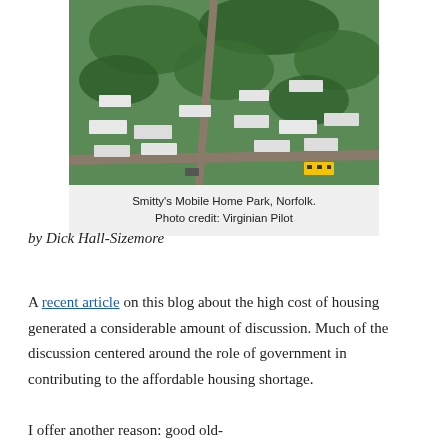[Figure (photo): Aerial view of Smitty's Mobile Home Park in Norfolk, showing mobile homes, trees, and roads from above. A yellow school bus is visible at the bottom right.]
Smitty's Mobile Home Park, Norfolk. Photo credit: Virginian Pilot
by Dick Hall-Sizemore
A recent article on this blog about the high cost of housing generated a considerable amount of discussion. Much of the discussion centered around the role of government in contributing to the affordable housing shortage.
I offer another reason: good old-